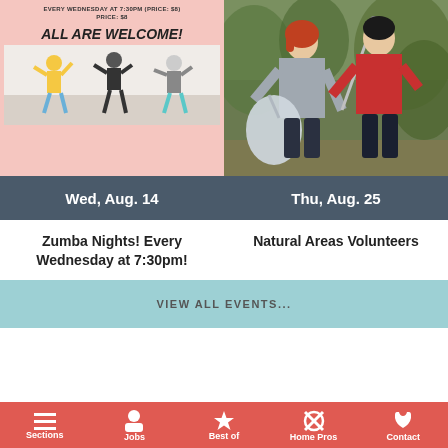[Figure (photo): Left event card with pink background. Top text reads 'EVERY WEDNESDAY AT 7:30PM (PRICE: $8)' and 'PRICE: $8'. Below that 'ALL ARE WELCOME!' in bold. Below that a photo of people doing Zumba dance.]
[Figure (photo): Right event card showing two volunteers (woman in grey and man in red shirt) holding trash bags and litter picker tools outdoors.]
Wed, Aug. 14
Thu, Aug. 25
Zumba Nights! Every Wednesday at 7:30pm!
Natural Areas Volunteers
VIEW ALL EVENTS...
Sections   Jobs   Best of   Home Pros   Contact